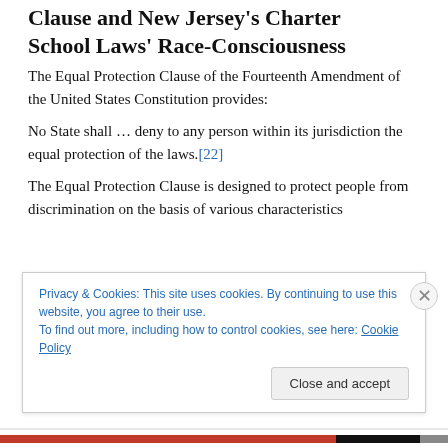Clause and New Jersey's Charter School Laws' Race-Consciousness
The Equal Protection Clause of the Fourteenth Amendment of the United States Constitution provides:
No State shall … deny to any person within its jurisdiction the equal protection of the laws.[22]
The Equal Protection Clause is designed to protect people from discrimination on the basis of various characteristics
Privacy & Cookies: This site uses cookies. By continuing to use this website, you agree to their use.
To find out more, including how to control cookies, see here: Cookie Policy